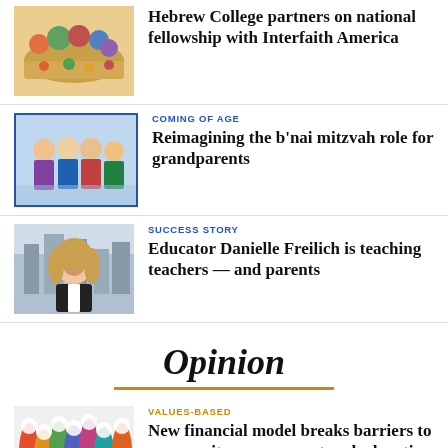[Figure (photo): Colorful illustration of people at a table with food]
Hebrew College partners on national fellowship with Interfaith America
[Figure (photo): Group of people posing together indoors]
COMING OF AGE
Reimagining the b'nai mitzvah role for grandparents
[Figure (photo): Portrait of a woman with blonde hair]
SUCCESS STORY
Educator Danielle Freilich is teaching teachers — and parents
Opinion
[Figure (illustration): Colorful illustration of diverse silhouetted figures]
VALUES-BASED
New financial model breaks barriers to community, engagement and education